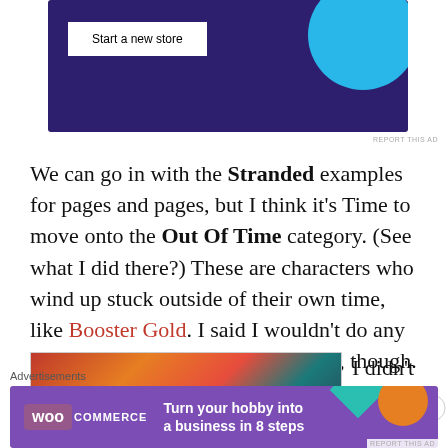[Figure (screenshot): Top banner advertisement with dark purple background, 'Start a new store' button in white, and a cyan circle graphic on the right.]
REPORT THIS AD
We can go in with the Stranded examples for pages and pages, but I think it’s Time to move onto the Out Of Time category.  (See what I did there?)  These are characters who wind up stuck outside of their own time, like Booster Gold.  I said I wouldn’t do any more comic book heroes in this list, though.
[Figure (illustration): Partial image visible at bottom left showing a colorful illustrated scene with reds, oranges, and dark teal colors suggesting a sci-fi or fantasy scene.]
I didn’t say
Advertisements
[Figure (screenshot): WooCommerce advertisement banner with purple background, WooCommerce logo, and text 'Turn your hobby into a business in 8 steps' with colorful geometric accents.]
REPORT THIS AD